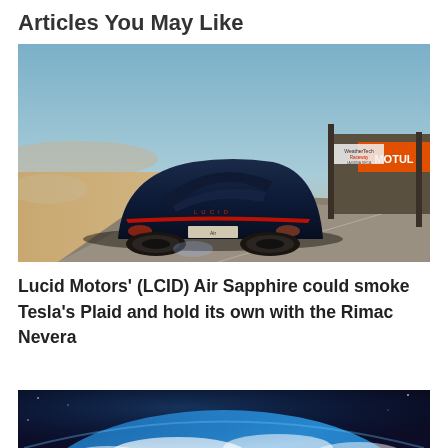Articles You May Like
[Figure (photo): Rear view of a dark blue Lucid Air Sapphire electric vehicle on a racetrack with Motul and WeatherTech Raceway Laguna Seca signage visible in the background.]
Lucid Motors' (LCID) Air Sapphire could smoke Tesla's Plaid and hold its own with the Rimac Nevera
[Figure (photo): Partial view of Earth from space, showing blue ocean and cloud formations.]